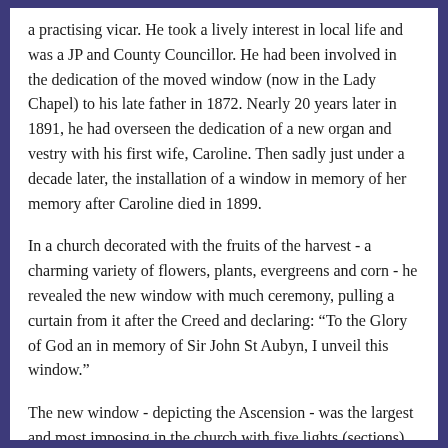a practising vicar. He took a lively interest in local life and was a JP and County Councillor. He had been involved in the dedication of the moved window (now in the Lady Chapel) to his late father in 1872. Nearly 20 years later in 1891, he had overseen the dedication of a new organ and vestry with his first wife, Caroline. Then sadly just under a decade later, the installation of a window in memory of her memory after Caroline died in 1899.
In a church decorated with the fruits of the harvest - a charming variety of flowers, plants, evergreens and corn - he revealed the new window with much ceremony, pulling a curtain from it after the Creed and declaring: “To the Glory of God an in memory of Sir John St Aubyn, I unveil this window.”
The new window - depicting the Ascension - was the largest and most imposing in the church with five lights (sections) and traceries of elaborately carved Breage granite. Angels on the outer lights are holding scrolls on which are written